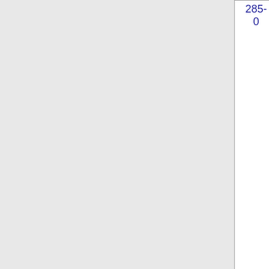| 285-
0 | CLEC, LLC - CA |  |
| 323-
285-
1 | CA | BANDWIDTH.COM
CLEC, LLC - CA | 981E |